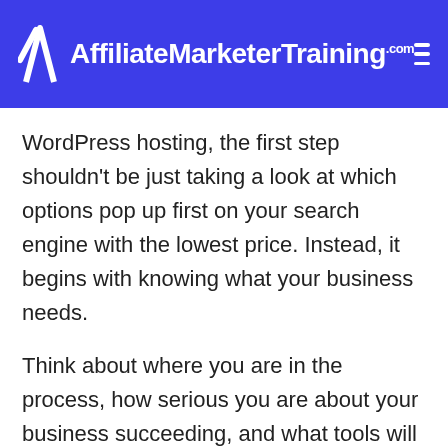AffiliateMarketerTraining.com
WordPress hosting, the first step shouldn't be just taking a look at which options pop up first on your search engine with the lowest price. Instead, it begins with knowing what your business needs.
Think about where you are in the process, how serious you are about your business succeeding, and what tools will help you reach your goals. Then you can start to look over each premium WordPress